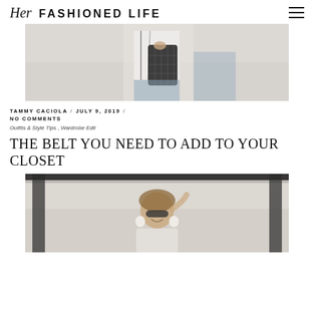Her FASHIONED LIFE
[Figure (photo): Cropped photo showing a person holding a dark woven basket bag, wearing jeans and a white top with black stripes]
TAMMY CACIOLA / JULY 9, 2019 / NO COMMENTS
Outfits & Style Tips , Wardrobe Edit
THE BELT YOU NEED TO ADD TO YOUR CLOSET
[Figure (photo): Photo of a woman outdoors smiling, wearing sunglasses and large white earrings, touching her sunglasses with one hand]